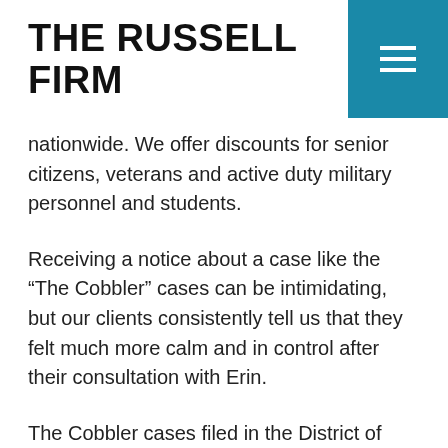THE RUSSELL FIRM
nationwide. We offer discounts for senior citizens, veterans and active duty military personnel and students.
Receiving a notice about a case like the “The Cobbler” cases can be intimidating, but our clients consistently tell us that they felt much more calm and in control after their consultation with Erin.
The Cobbler cases filed in the District of Colorado in March bears docket (civil action) number 1:2016-cv-00598 and is styled Cobbler Nevada, LLC v. John Does 1-